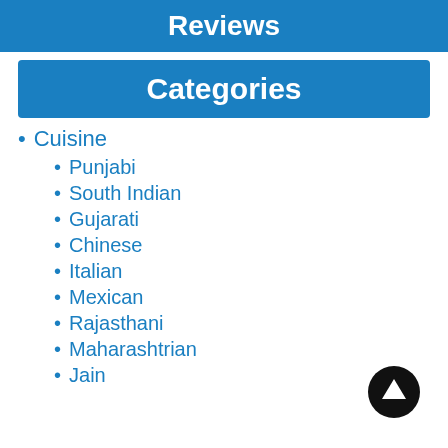Reviews
Categories
Cuisine
Punjabi
South Indian
Gujarati
Chinese
Italian
Mexican
Rajasthani
Maharashtrian
Jain